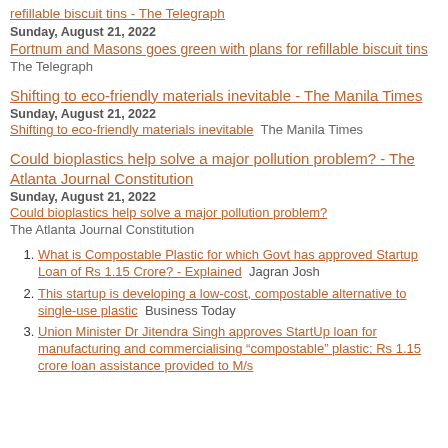refillable biscuit tins - The Telegraph
Sunday, August 21, 2022
Fortnum and Masons goes green with plans for refillable biscuit tins  The Telegraph
Shifting to eco-friendly materials inevitable - The Manila Times
Sunday, August 21, 2022
Shifting to eco-friendly materials inevitable  The Manila Times
Could bioplastics help solve a major pollution problem? - The Atlanta Journal Constitution
Sunday, August 21, 2022
Could bioplastics help solve a major pollution problem?  The Atlanta Journal Constitution
What is Compostable Plastic for which Govt has approved Startup Loan of Rs 1.15 Crore? - Explained  Jagran Josh
This startup is developing a low-cost, compostable alternative to single-use plastic  Business Today
Union Minister Dr Jitendra Singh approves StartUp loan for manufacturing and commercialising "compostable" plastic; Rs 1.15 crore loan assistance provided to M/s